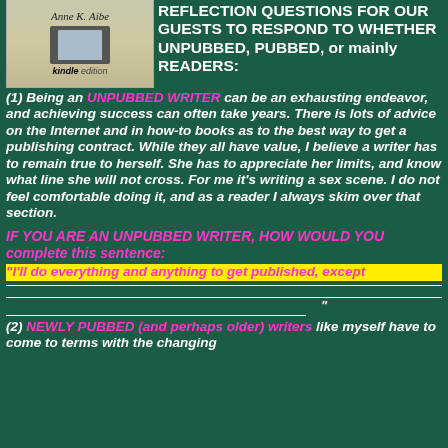[Figure (photo): Book cover showing 'Anne K. Aibe - kindle edition' with an e-reader image]
REFLECTION QUESTIONS FOR OUR GUESTS TO RESPOND TO WHETHER UNPUBBED, PUBBED, or mainly READERS:
(1) Being an UNPUBBED WRITER can be an exhausting endeavor, and achieving success can often take years. There is lots of advice on the Internet and in how-to books as to the best way to get a publishing contract. While they all have value, I believe a writer has to remain true to herself. She has to appreciate her limits, and know what line she will not cross. For me it's writing a sex scene. I do not feel comfortable doing it, and as a reader I always skim over that section.
IF YOU ARE AN UNPUBBED WRITER, HOW WOULD YOU complete this sentence:
“I’ll do everything and anything to get published, except
"
(2) NEWLY PUBBED (and perhaps older) writers like myself have to come to terms with the changing